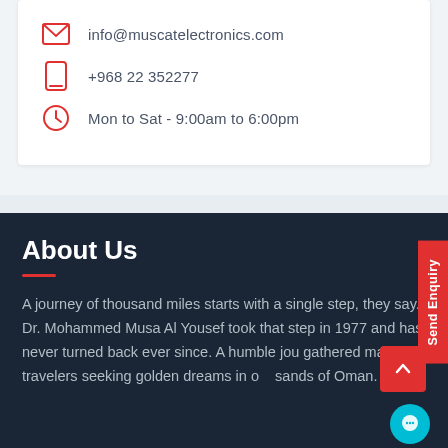info@muscatelectronics.com
+968 22 352277
Mon to Sat - 9:00am to 6:00pm
About Us
A journey of thousand miles starts with a single step, they say. Dr. Mohammed Musa Al Yousef took that step in 1977 and has never turned back ever since. A humble journey that gathered many travelers seeking golden dreams in the golden sands of Oman.